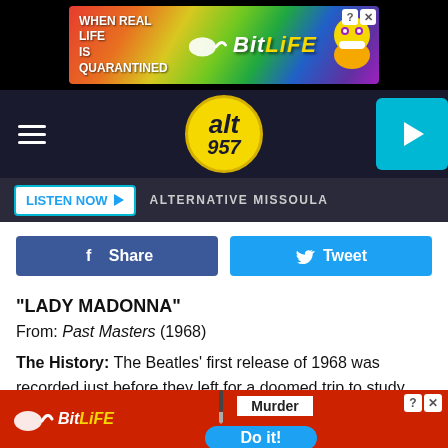[Figure (screenshot): BitLife advertisement banner: rainbow gradient background with text 'WHEN REAL LIFE IS QUARANTINED' and 'BitLife' logo with cartoon character wearing mask]
[Figure (screenshot): Alt 957 radio station navigation bar with hamburger menu, circular yellow logo, and cyan play button]
[Figure (screenshot): Listen Now button and 'ALTERNATIVE MISSOULA' label on dark background bar]
[Figure (screenshot): Facebook Share and Twitter Tweet social sharing buttons]
"LADY MADONNA"
From: Past Masters (1968)
The History: The Beatles' first release of 1968 was recorded just before they left for a doomed trip to study under the Maharishi Mahesh Yogi. "Lady Madonna" betrayed McCartney's deep debt to the late early-rock legend Fats Domin... ...edelia that do...
[Figure (screenshot): BitLife advertisement banner at bottom: red background with BitLife logo, sperm icon, knife icon, 'Murder' label, 'Do it!' blue button, and close icons]